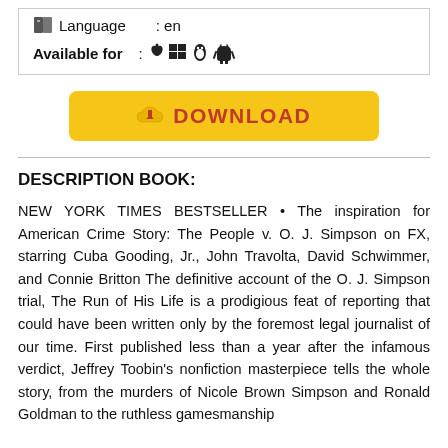| Language | : en |
| Available for | : 🍎 🪟 🐧 🤖 |
[Figure (other): Yellow download button with cloud/download icon and text DOWNLOAD in red]
DESCRIPTION BOOK:
NEW YORK TIMES BESTSELLER • The inspiration for American Crime Story: The People v. O. J. Simpson on FX, starring Cuba Gooding, Jr., John Travolta, David Schwimmer, and Connie Britton The definitive account of the O. J. Simpson trial, The Run of His Life is a prodigious feat of reporting that could have been written only by the foremost legal journalist of our time. First published less than a year after the infamous verdict, Jeffrey Toobin's nonfiction masterpiece tells the whole story, from the murders of Nicole Brown Simpson and Ronald Goldman to the ruthless gamesmanship